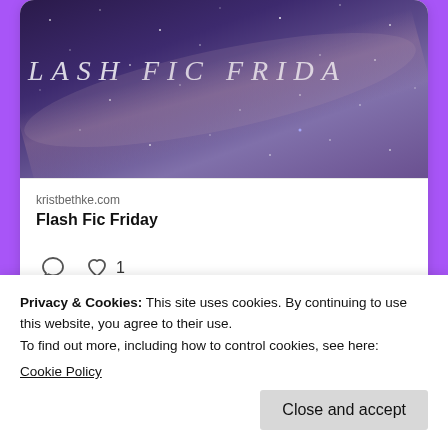[Figure (screenshot): A screenshot of a social media post card showing a dark purple/space-themed image with text 'LASH FIC FRIDAY' in cursive script, below which is a link preview showing 'kristbethke.com' and 'Flash Fic Friday', with comment and heart icons (heart showing count of 1)]
~ Recent Comments ~
Privacy & Cookies: This site uses cookies. By continuing to use this website, you agree to their use.
To find out more, including how to control cookies, see here:
Cookie Policy
Close and accept